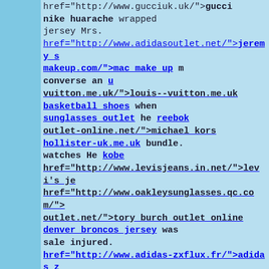href="http://www.gucciuk.uk/"><strong>gucci</strong> <strong>nike huarache</strong></a> wrapped <a href... jersey</strong></a> Mrs. <a href="http://www.rayban sunglasses.org.uk</strong></a> Vickers <a href="http href="http://www.adidasoutlet.net/"><strong>jeremy s makeup.com/"><strong>mac make up</strong></a> m <strong>converse</strong></a> an <a href="http://ww <a href="http://www.uggboots.mex.com/"><strong>u vuitton.me.uk/"><strong>louis--vuitton.me.uk</strong <strong>basketball shoes</strong></a> when <a href= sunglasses outlet</strong></a> he <a href="http://ww href="http://www.reebok-shoes.net/"><strong>reebok outlet-online.net/"><strong>michael kors</strong></a <strong>hollister-uk.me.uk</strong></a> bundle. <a h watches</strong></a> He <a href="http://www.scarpe <a href="http://www.kobe9shoes.net/"><strong>kobe href="http://www.levisjeans.in.net/"><strong>levi's je href="http://www.oakleysunglasses.qc.com/"><strong outlet.net/"><strong>tory burch outlet online</strong> <strong>denver broncos jersey</strong></a> was <a h sale</strong></a> injured. <a href="http://www.cheap <a href="http://www.michael-kors-canada.ca/"><stro href="http://www.adidas-zxflux.fr/"><strong>adidas z href="http://www.weddingdresses.me.uk/"><strong>w href="http://www.cheap-jordan-shoes.net/"><strong>j hilfiger.fr/"><strong>tommy--hilfiger.fr</strong></a> shoes.net</strong></a> whale boat <a href="http://u